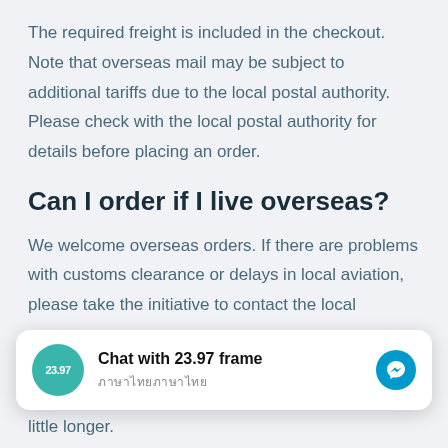The required freight is included in the checkout. Note that overseas mail may be subject to additional tariffs due to the local postal authority. Please check with the local postal authority for details before placing an order.
Can I order if I live overseas?
We welcome overseas orders. If there are problems with customs clearance or delays in local aviation, please take the initiative to contact the local
[Figure (screenshot): Chat widget overlay showing 'Chat with 23.97 frame' with teal avatar and messenger icon, subtitle text in Thai characters]
little longer.